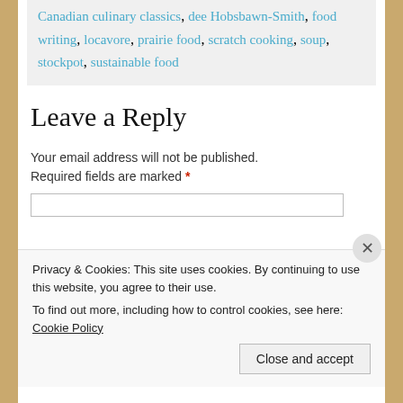Canadian culinary classics, dee Hobsbawn-Smith, food writing, locavore, prairie food, scratch cooking, soup, stockpot, sustainable food
Leave a Reply
Your email address will not be published. Required fields are marked *
Privacy & Cookies: This site uses cookies. By continuing to use this website, you agree to their use. To find out more, including how to control cookies, see here: Cookie Policy
Close and accept